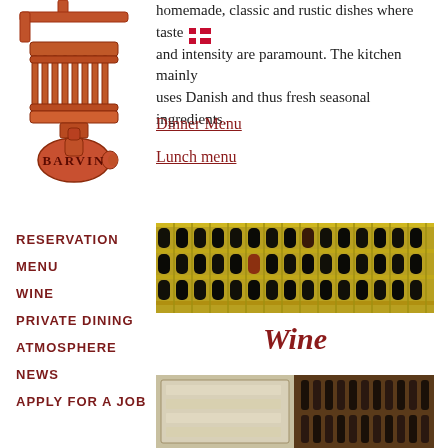[Figure (illustration): Bar Vin logo illustration: a wine press / barrel press device above a wine bottle, with 'BARVIN' text, drawn in rust/brown tones]
homemade, classic and rustic dishes where taste and intensity are paramount. The kitchen mainly uses Danish and thus fresh seasonal ingredients.
Dinner Menu
Lunch menu
RESERVATION
MENU
WINE
PRIVATE DINING
ATMOSPHERE
NEWS
APPLY FOR A JOB
[Figure (photo): Photo of a wine cellar wall filled with many wine bottles arranged in wooden shelving, yellowish/warm toned lighting]
Wine
[Figure (photo): Photo of a wine cellar interior, showing wine racks and bottles, partially visible at bottom of page]